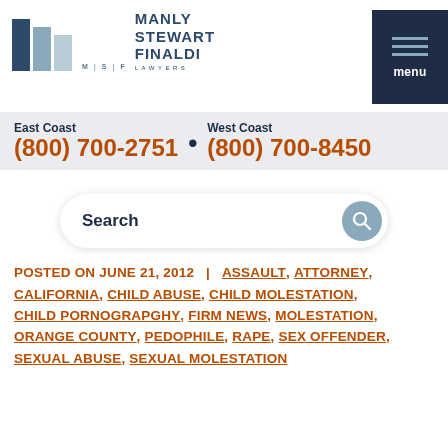[Figure (logo): Manly Stewart Finaldi Lawyers logo with three vertical bars in navy/steel blue and firm name text]
East Coast (800) 700-2751 • West Coast (800) 700-8450
Search
POSTED ON JUNE 21, 2012 | ASSAULT, ATTORNEY, CALIFORNIA, CHILD ABUSE, CHILD MOLESTATION, CHILD PORNOGRAPGHY, FIRM NEWS, MOLESTATION, ORANGE COUNTY, PEDOPHILE, RAPE, SEX OFFENDER, SEXUAL ABUSE, SEXUAL MOLESTATION